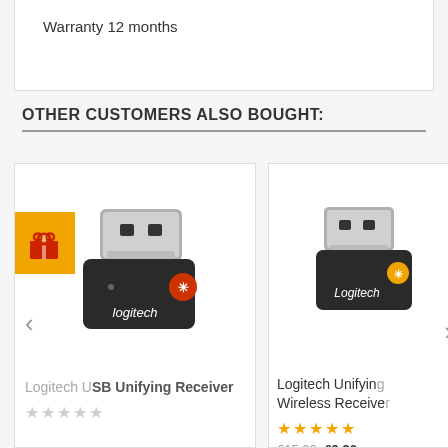Warranty 12 months
OTHER CUSTOMERS ALSO BOUGHT:
[Figure (photo): Logitech USB Unifying Receiver dongle product photo with orange Unifying logo, silver and black USB plug]
Logitech USB Unifying Receiver
[Figure (photo): Logitech Unifying Wireless Receiver dongle product photo with orange Unifying logo, silver and black]
Logitech Unifying Wireless Receiver
£15.00  £9.90